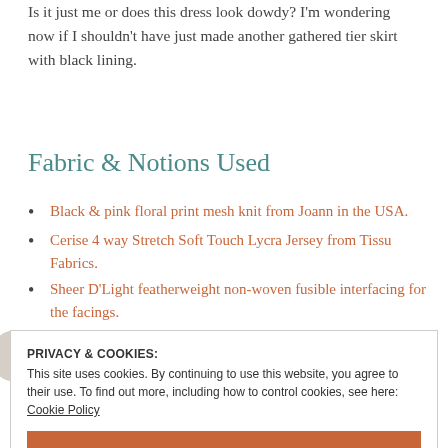Is it just me or does this dress look dowdy? I'm wondering now if I shouldn't have just made another gathered tier skirt with black lining.
Fabric & Notions Used
Black & pink floral print mesh knit from Joann in the USA.
Cerise 4 way Stretch Soft Touch Lycra Jersey from Tissu Fabrics.
Sheer D'Light featherweight non-woven fusible interfacing for the facings.
Spray starchy. Lots and lots of it.
PRIVACY & COOKIES:
This site uses cookies. By continuing to use this website, you agree to their use. To find out more, including how to control cookies, see here: Cookie Policy
starch the hell out of it. I even resorted to homemade